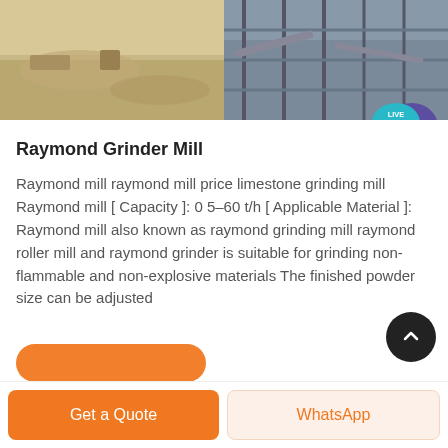[Figure (photo): Two-panel photo strip: left panel shows aerial/ground view of a quarry/mining area with sandy terrain and machinery; right panel shows industrial crushing/screening plant equipment with metal framework and conveyors.]
Raymond Grinder Mill
Raymond mill raymond mill price limestone grinding mill Raymond mill [ Capacity ]: 0 5–60 t/h [ Applicable Material ]: Raymond mill also known as raymond grinding mill raymond roller mill and raymond grinder is suitable for grinding non-flammable and non-explosive materials The finished powder size can be adjusted